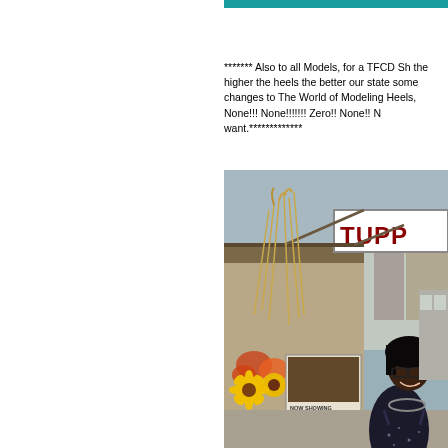******* Also to all Models, for a TFCD Sh the higher the heels the better our state some changes to The World of Modeling Heels, None!!! None!!!!!!! Zero!! None!! N want.*************
[Figure (photo): A woman in a strapless outfit posing in front of a Tupperware venue sign, with fall floral decorations including sunflowers and dried grasses, and a 'Now Showing' movie poster visible. Urban street scene in background.]